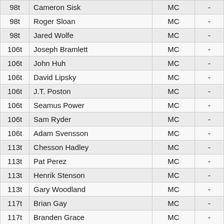|  |  |  |  |
| --- | --- | --- | --- |
| 98t | Cameron Sisk | MC | - |
| 98t | Roger Sloan | MC | - |
| 98t | Jared Wolfe | MC | - |
| 106t | Joseph Bramlett | MC | - |
| 106t | John Huh | MC | - |
| 106t | David Lipsky | MC | - |
| 106t | J.T. Poston | MC | - |
| 106t | Seamus Power | MC | - |
| 106t | Sam Ryder | MC | - |
| 106t | Adam Svensson | MC | - |
| 113t | Chesson Hadley | MC | - |
| 113t | Pat Perez | MC | - |
| 113t | Henrik Stenson | MC | - |
| 113t | Gary Woodland | MC | - |
| 117t | Brian Gay | MC | - |
| 117t | Branden Grace | MC | - |